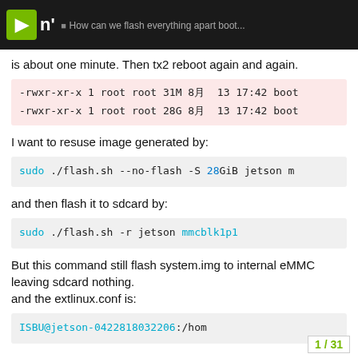How can we flash everything apart boot...
is about one minute. Then tx2 reboot again and again.
-rwxr-xr-x 1 root root 31M 8月  13 17:42 boot
-rwxr-xr-x 1 root root 28G 8月  13 17:42 boot
I want to resuse image generated by:
sudo ./flash.sh --no-flash -S 28GiB jetson m
and then flash it to sdcard by:
sudo ./flash.sh -r jetson mmcblk1p1
But this command still flash system.img to internal eMMC leaving sdcard nothing.
and the extlinux.conf is:
ISBU@jetson-0422818032206:/hom
1 / 31